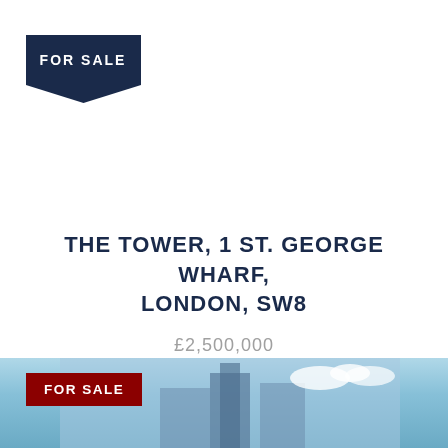[Figure (infographic): FOR SALE badge/label in dark navy blue with a downward pointing arrow/chevron at the bottom, positioned top-left]
THE TOWER, 1 ST. GEORGE WHARF, LONDON, SW8
£2,500,000
1 Reception | 3 Bedrooms | 2 Bathrooms
ADD TO PROPERTY SHORTLIST
[Figure (photo): Partial photo of a building exterior at bottom of page, with a red FOR SALE badge overlay on the left side]